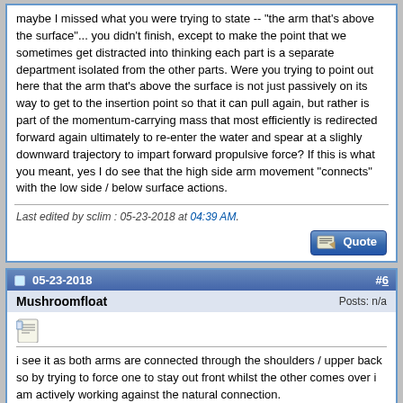maybe I missed what you were trying to state -- "the arm that's above the surface"... you didn't finish, except to make the point that we sometimes get distracted into thinking each part is a separate department isolated from the other parts. Were you trying to point out here that the arm that's above the surface is not just passively on its way to get to the insertion point so that it can pull again, but rather is part of the momentum-carrying mass that most efficiently is redirected forward again ultimately to re-enter the water and spear at a slighly downward trajectory to impart forward propulsive force? If this is what you meant, yes I do see that the high side arm movement "connects" with the low side / below surface actions.
Last edited by sclim : 05-23-2018 at 04:39 AM.
#6
05-23-2018
Mushroomfloat
Posts: n/a
i see it as both arms are connected through the shoulders / upper back so by trying to force one to stay out front whilst the other comes over i am actively working against the natural connection.
i read te ocean walker thread and have been focussing on